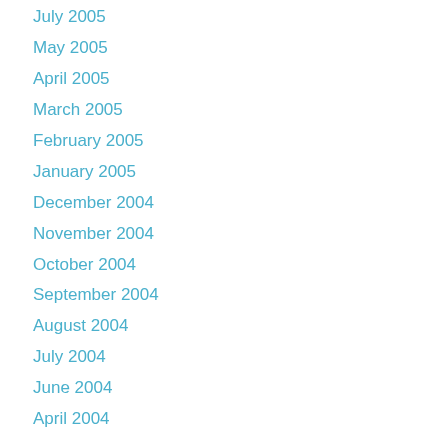July 2005
May 2005
April 2005
March 2005
February 2005
January 2005
December 2004
November 2004
October 2004
September 2004
August 2004
July 2004
June 2004
April 2004